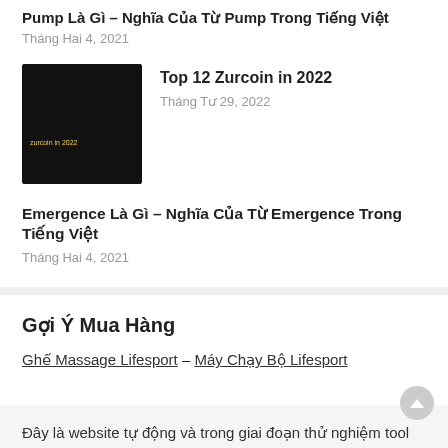Pump Là Gì – Nghĩa Của Từ Pump Trong Tiếng Việt
Tháng Hai 4, 2021
[Figure (photo): Dark thumbnail image with small yellow text 'zurcoin in 2022']
Top 12 Zurcoin in 2022
Tháng Tư 29, 2022
Emergence Là Gì – Nghĩa Của Từ Emergence Trong Tiếng Việt
Tháng Hai 4, 2021
Gợi Ý Mua Hàng
Ghế Massage Lifesport – Máy Chạy Bộ Lifesport
Đây là website tự động và trong giai đoạn thử nghiệm tool tự động lấy bài viết, mọi thông tin đăng tải trên